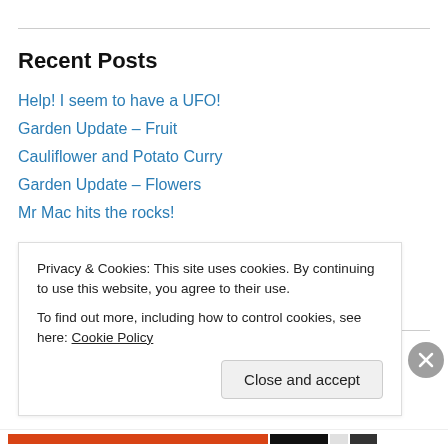Recent Posts
Help! I seem to have a UFO!
Garden Update – Fruit
Cauliflower and Potato Curry
Garden Update – Flowers
Mr Mac hits the rocks!
Archives
August 2013
Privacy & Cookies: This site uses cookies. By continuing to use this website, you agree to their use.
To find out more, including how to control cookies, see here: Cookie Policy
Close and accept